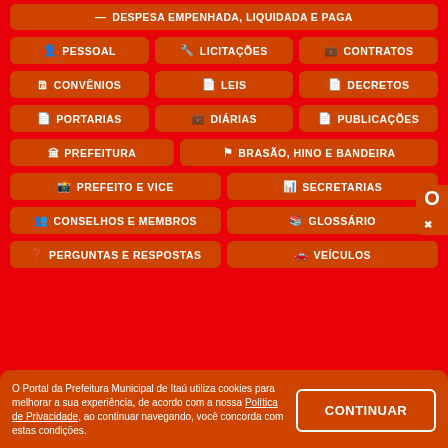DESPESA EMPENHADA, LIQUIDADA E PAGA
PESSOAL
LICITAÇÕES
CONTRATOS
CONVÊNIOS
LEIS
DECRETOS
PORTARIAS
DIÁRIAS
PUBLICAÇÕES
PREFEITURA
BRASÃO, HINO E BANDEIRA
PREFEITO E VICE
SECRETARIAS
CONSELHOS E MEMBROS
GLOSSÁRIO
PERGUNTAS E RESPOSTAS
VEÍCULOS
O Portal da Prefeitura Municipal de Itaú utiliza cookies para melhorar a sua experiência, de acordo com a nossa Política de Privacidade, ao continuar navegando, você concorda com estas condições.
CONTINUAR